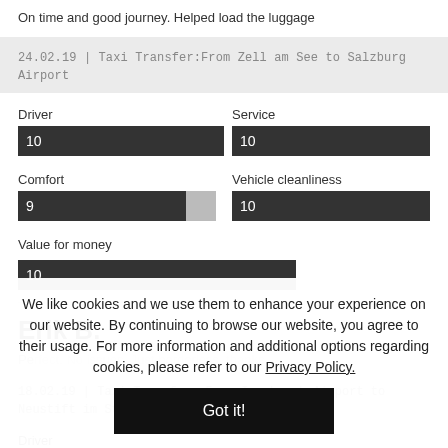On time and good journey. Helped load the luggage
24.02.19 | Taxi Transfer:From Zell am See to Salzburg Airport
Driver
[Figure (infographic): Rating bar for Driver showing score 10 out of 10, dark bar full width]
Service
[Figure (infographic): Rating bar for Service showing score 10 out of 10, dark bar full width]
Comfort
[Figure (infographic): Rating bar for Comfort showing score 9 out of 10, dark bar ~90% width with lighter remainder]
Vehicle cleanliness
[Figure (infographic): Rating bar for Vehicle cleanliness showing score 10 out of 10, dark bar full width]
Value for money
[Figure (infographic): Rating bar for Value for money showing score 10 out of 10, dark bar full width]
Erik B.
Perfect. No issues. Just borderless, thanks
18.02.19 | Taxi Transfer:From Innsbruck Airport to Neustift im Stubaital
Driver
We like cookies and we use them to enhance your experience on our website. By continuing to browse our website, you agree to their usage. For more information and additional options regarding cookies, please refer to our Privacy Policy.
Got it!